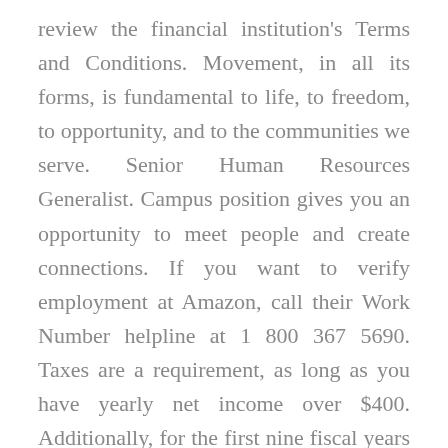review the financial institution's Terms and Conditions. Movement, in all its forms, is fundamental to life, to freedom, to opportunity, and to the communities we serve. Senior Human Resources Generalist. Campus position gives you an opportunity to meet people and create connections. If you want to verify employment at Amazon, call their Work Number helpline at 1 800 367 5690. Taxes are a requirement, as long as you have yearly net income over $400. Additionally, for the first nine fiscal years after the bill's enactment, the bill would reserve an additional 5. However, all self employment income in excess of $400 is subject to Medicare tax. This guide explains key things you need to know on reporting income below $600 and others, like keeping track of your income and expenses for the tax year. Employers that request documents when not required, based on a worker's citizenship